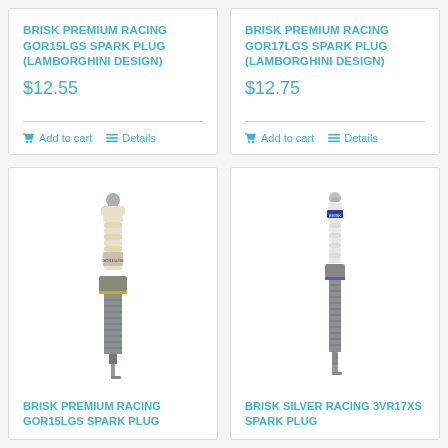BRISK PREMIUM RACING GOR15LGS SPARK PLUG (LAMBORGHINI DESIGN)
$12.55
Add to cart  Details
BRISK PREMIUM RACING GOR17LGS SPARK PLUG (LAMBORGHINI DESIGN)
$12.75
Add to cart  Details
[Figure (photo): Spark plug product photo - Brisk Premium Racing GOR15LGS]
BRISK PREMIUM RACING GOR15LGS SPARK PLUG
[Figure (photo): Spark plug product photo - Brisk Silver Racing 3VR17XS]
BRISK SILVER RACING 3VR17XS SPARK PLUG